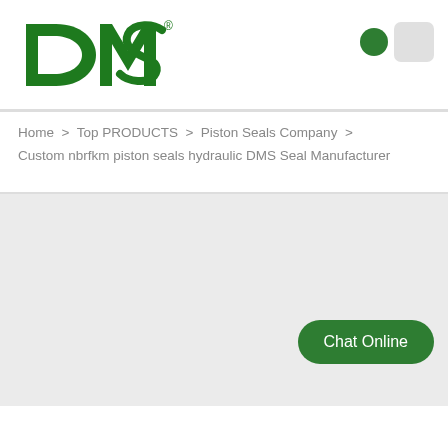[Figure (logo): DMS company logo in green with registered trademark symbol]
Home > Top PRODUCTS > Piston Seals Company > Custom nbrfkm piston seals hydraulic DMS Seal Manufacturer
[Figure (photo): Large gray placeholder image area for product photo]
Chat Online